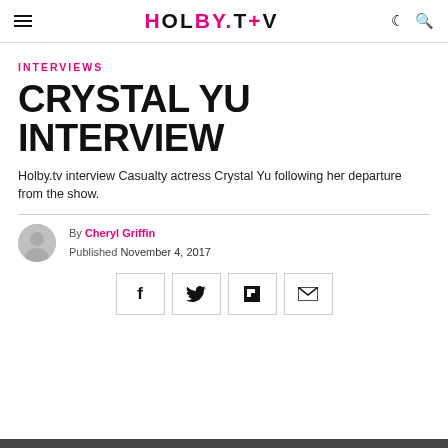HOLBY.TV
INTERVIEWS
CRYSTAL YU INTERVIEW
Holby.tv interview Casualty actress Crystal Yu following her departure from the show.
By Cheryl Griffin
Published November 4, 2017